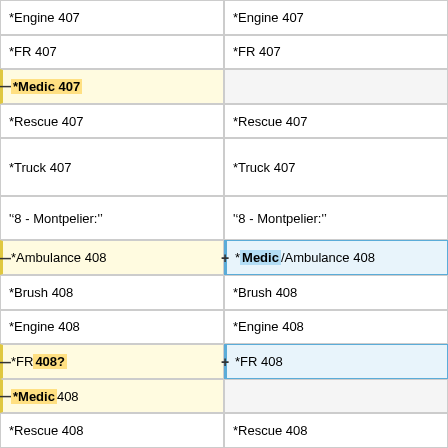| *Engine 407 | *Engine 407 |
| *FR 407 | *FR 407 |
| *Medic 407 |  |
| *Rescue 407 | *Rescue 407 |
| *Truck 407 | *Truck 407 |
|  |  |
| ""'8 - Montpelier:'"" | ""'8 - Montpelier:'"" |
| *Ambulance 408 | *Medic/Ambulance 408 |
| *Brush 408 | *Brush 408 |
| *Engine 408 | *Engine 408 |
| *FR 408? | *FR 408 |
| *Medic 408 |  |
| *Rescue 408 | *Rescue 408 |